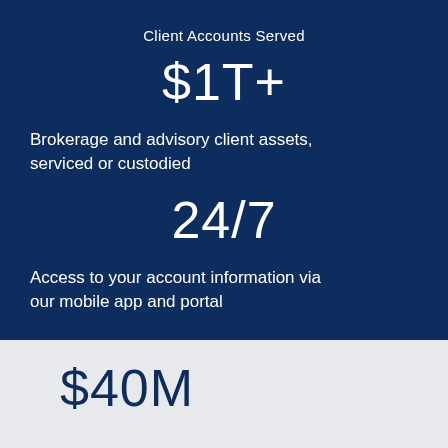Client Accounts Served
$1T+
Brokerage and advisory client assets, serviced or custodied
24/7
Access to your account information via our mobile app and portal
$40M